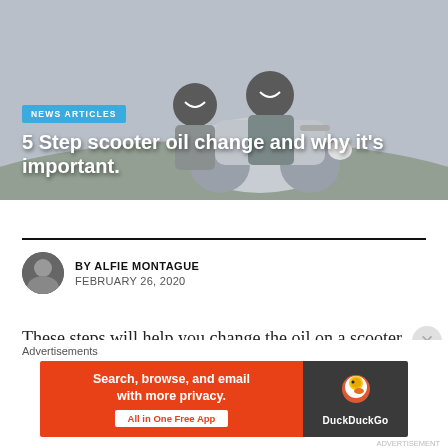[Figure (photo): Two people wearing helmets riding a vintage scooter outdoors, smiling, with a grey sky background.]
NEWS ARTICLES
5 Step scooter oil change and why it's important.
BY ALFIE MONTAGUE
FEBRUARY 26, 2020
These steps will help you change the oil on a scooter or
[Figure (other): DuckDuckGo advertisement banner: 'Search, browse, and email with more privacy. All in One Free App' with DuckDuckGo logo on dark background.]